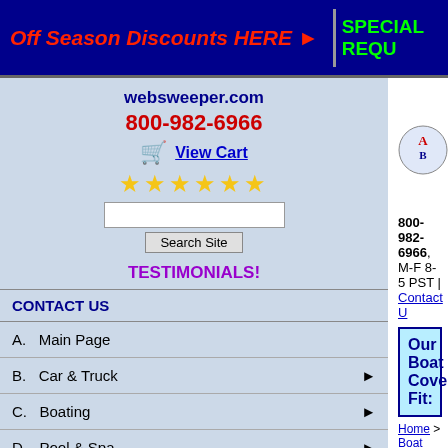Off Season Discounts HERE ► | SPECIAL REQU...
websweeper.com
800-982-6966
View Cart
[Figure (other): Five gold star rating icons]
Search Site
TESTIMONIALS!
CONTACT US
A.  Main Page
B.  Car & Truck ▶
C.  Boating ▶
D.  Pool & Spa ▶
E.  Vinyl Strip Doors
Ameri-Brand Pro...
We Sell Factory D...
800-982-6966, M-F 8-5 PST | Contact U...
Our Boat Cover Fit:  Cus...
Home > Boat Covers > Prices > Covers by Make...
Hallett Boa...
Please Select Yo...
Select Your Boat's Model
Note: If Your Boat is Not Listed, Y...